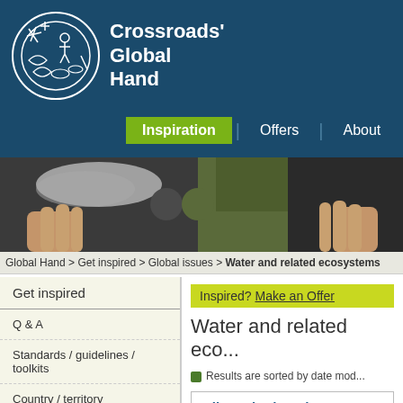[Figure (logo): Crossroads Global Hand logo - circular white illustration on dark blue background with text 'Crossroads Global Hand']
Inspiration | Offers | About
[Figure (photo): Banner photo showing hands holding puzzle pieces with water/earth imagery]
Global Hand > Get inspired > Global issues > Water and related ecosystems
Get inspired
Q & A
Standards / guidelines / toolkits
Country / territory
Global issues
Inspired? Make an Offer
Water and related eco...
Results are sorted by date mod...
All results (1008)